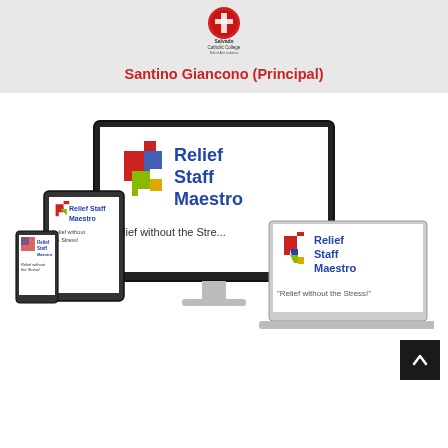[Figure (logo): Salvado Catholic College logo — circular red emblem with 'Salvado Catholic College' text below]
Santino Giancono (Principal)
[Figure (screenshot): Relief Staff Maestro product mockup showing the software displayed on a desktop monitor, tablet, and laptop. Text reads 'Relief Staff Maestro' and 'Relief without the Stress!' with colorful puzzle piece logo.]